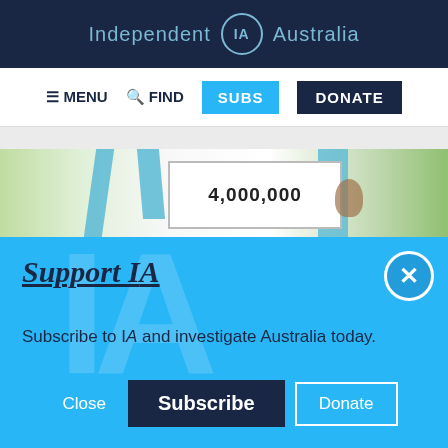Independent IA Australia
[Figure (screenshot): Navigation bar with MENU, FIND, SUBS, and DONATE buttons on a white background]
[Figure (illustration): Partial cartoon illustration showing animals with text '4,000,000' on a sign]
Support IA
Subscribe to IA and investigate Australia today.
[Figure (screenshot): Blue modal panel with Close, Subscribe, and Donate buttons and an X close icon]
Twitter, Facebook, LinkedIn, Flipboard, share, and plus social icons